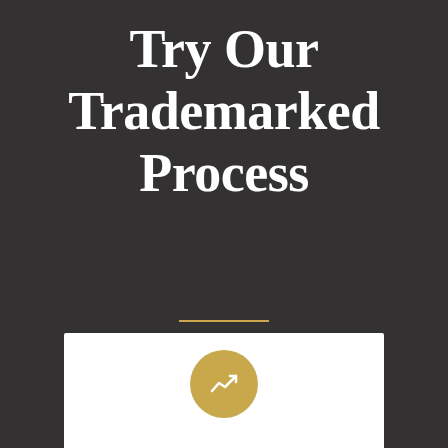Try Our Trademarked Process
[Figure (illustration): A white card/panel at the bottom center of the page with a gold circular icon containing a white upward-trending chart/graph symbol]